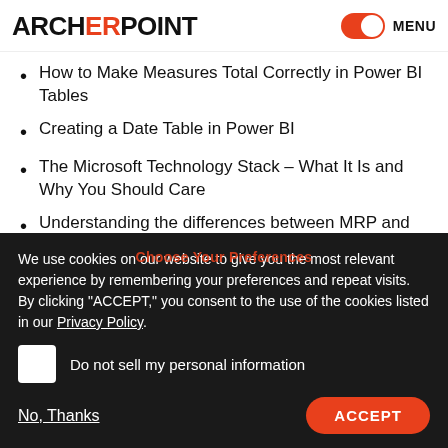ARCHERPOINT | MENU
How to Make Measures Total Correctly in Power BI Tables
Creating a Date Table in Power BI
The Microsoft Technology Stack – What It Is and Why You Should Care
Understanding the differences between MRP and MPS
STAY INFORMED
We use cookies on our website to give you the most relevant experience by remembering your preferences and repeat visits. By clicking "ACCEPT," you consent to the use of the cookies listed in our Privacy Policy.
Do not sell my personal information
No, Thanks
ACCEPT